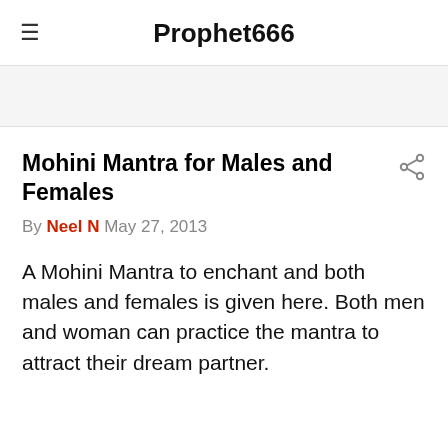Prophet666
Mohini Mantra for Males and Females
By Neel N May 27, 2013
A Mohini Mantra to enchant and both males and females is given here. Both men and woman can practice the mantra to attract their dream partner.